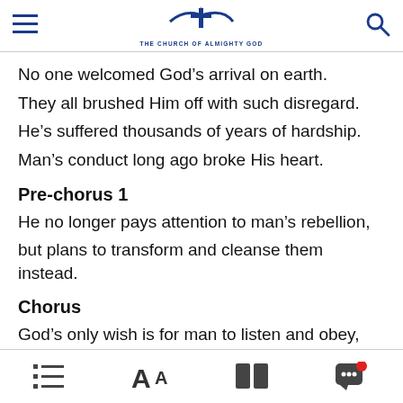THE CHURCH OF ALMIGHTY GOD
No one welcomed God's arrival on earth.
They all brushed Him off with such disregard.
He's suffered thousands of years of hardship.
Man's conduct long ago broke His heart.
Pre-chorus 1
He no longer pays attention to man's rebellion,
but plans to transform and cleanse them instead.
Chorus
God's only wish is for man to listen and obey,
navigation toolbar